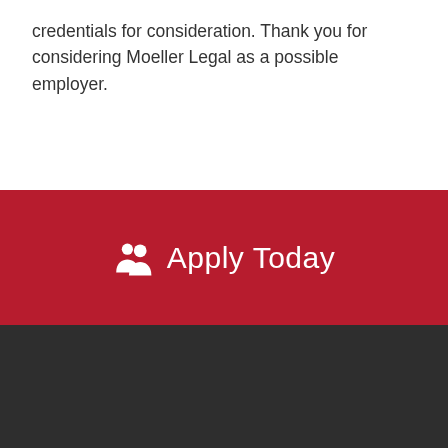credentials for consideration. Thank you for considering Moeller Legal as a possible employer.
Apply Today